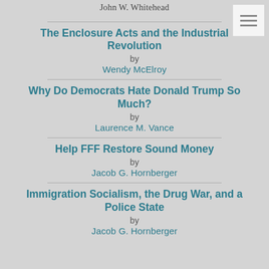John W. Whitehead
The Enclosure Acts and the Industrial Revolution by Wendy McElroy
Why Do Democrats Hate Donald Trump So Much? by Laurence M. Vance
Help FFF Restore Sound Money by Jacob G. Hornberger
Immigration Socialism, the Drug War, and a Police State by Jacob G. Hornberger